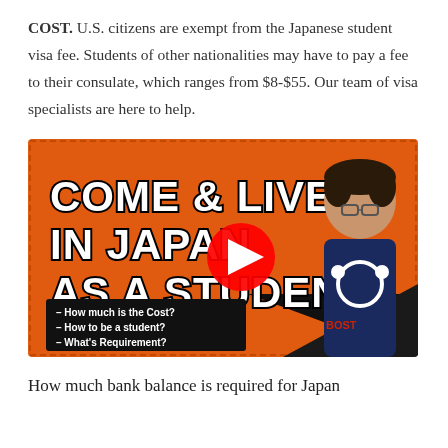COST. U.S. citizens are exempt from the Japanese student visa fee. Students of other nationalities may have to pay a fee to their consulate, which ranges from $8-$55. Our team of visa specialists are here to help.
[Figure (screenshot): YouTube video thumbnail with orange background. Title text 'Come & Live in Japan as a Student!' in large white block letters with black outline. A YouTube play button (red circle with white triangle) in the center. A young Asian male wearing glasses and a navy hoodie on the right. Black box at bottom left listing: '- How much is the Cost? - How to be a student? - What's Requirement?' A black triangle/arrow pointing right on the bottom right.]
How much bank balance is required for Japan